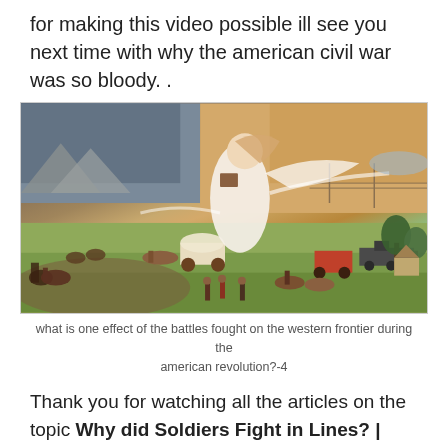for making this video possible ill see you next time with why the american civil war was so bloody. .
[Figure (illustration): Classic American frontier painting 'American Progress' showing an allegorical female figure in white floating across the landscape, with settlers, wagons, horses, and a locomotive on the right, and Native Americans and buffalo retreating on the left.]
what is one effect of the battles fought on the western frontier during the american revolution?-4
Thank you for watching all the articles on the topic Why did Soldiers Fight in Lines? | Animated History. All shares of bluevelvetrestaurant.com are very good. We hope you are